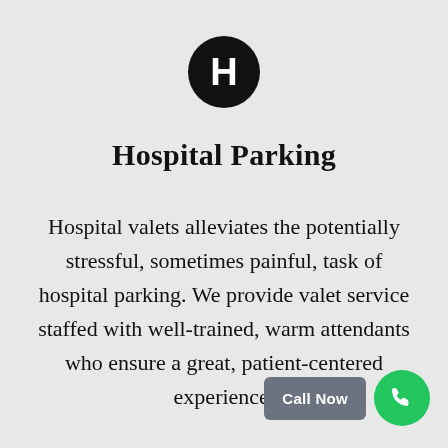[Figure (logo): Black circle with white letter H — hospital logo]
Hospital Parking
Hospital valets alleviates the potentially stressful, sometimes painful, task of hospital parking. We provide valet service staffed with well-trained, warm attendants who ensure a great, patient-centered experience.
[Figure (other): Grey 'Call Now' button next to a green circle with a white phone icon]